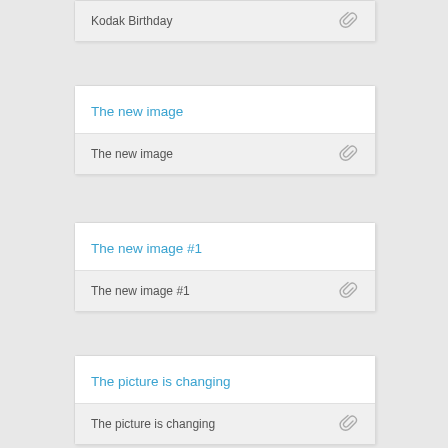Kodak Birthday
The new image
The new image #1
The picture is changing
George Fisher visits Kodak